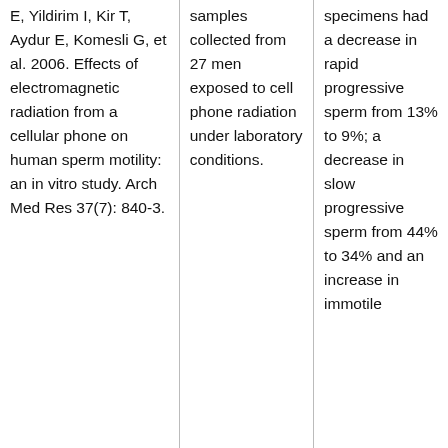| E, Yildirim I, Kir T, Aydur E, Komesli G, et al. 2006. Effects of electromagnetic radiation from a cellular phone on human sperm motility: an in vitro study. Arch Med Res 37(7): 840-3. | samples collected from 27 men exposed to cell phone radiation under laboratory conditions. | specimens had a decrease in rapid progressive sperm from 13% to 9%; a decrease in slow progressive sperm from 44% to 34% and an increase in immotile |